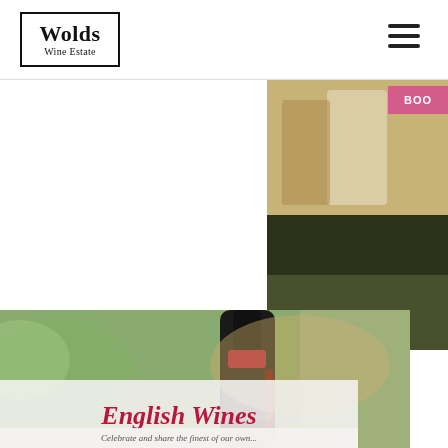[Figure (logo): Wolds Wine Estate logo — text in a rectangular border, serif font]
[Figure (illustration): Hamburger menu icon (three horizontal bars) in top-right of header]
[Figure (photo): Top-right image: wedding couple in warm golden/tan tones with a pink 'BOO' booking button overlay]
[Figure (photo): Bottom-right image: dark vineyard/grass texture]
[Figure (photo): Woman pouring red wine from a bottle outdoors, blurred green background]
English Wines
Celebrate and share the finest of our own...